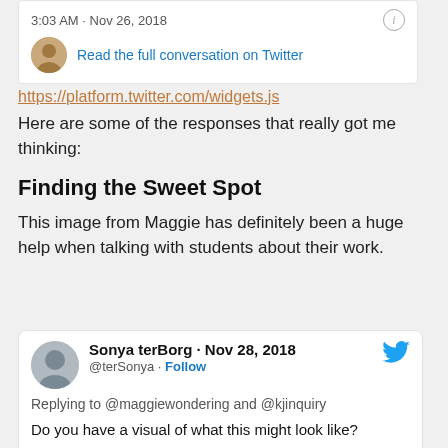3:03 AM · Nov 26, 2018
Read the full conversation on Twitter
https://platform.twitter.com/widgets.js
Here are some of the responses that really got me thinking:
Finding the Sweet Spot
This image from Maggie has definitely been a huge help when talking with students about their work.
Sonya terBorg · Nov 28, 2018
@terSonya · Follow
Replying to @maggiewondering and @kjinquiry
Do you have a visual of what this might look like?
Maggie Magowan (Lewis)